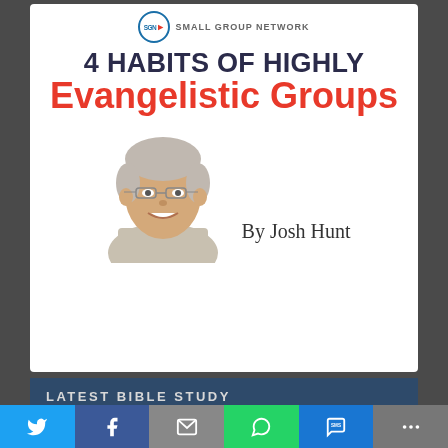[Figure (illustration): Cover image for '4 Habits of Highly Evangelistic Groups' by Josh Hunt, featuring the Small Group Network logo, title text, and a photo of Josh Hunt (older man with glasses, smiling)]
LATEST BIBLE STUDY
Question-based
[Figure (infographic): Social sharing bar with icons for Twitter, Facebook, Email, WhatsApp, SMS, and More]